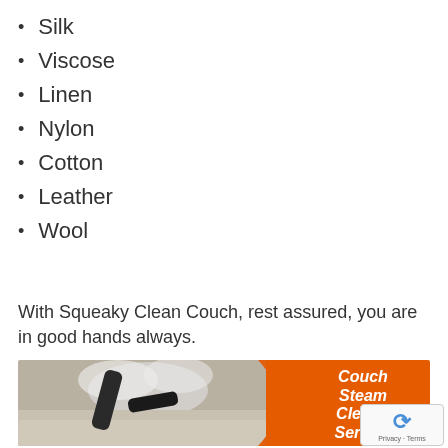Silk
Viscose
Linen
Nylon
Cotton
Leather
Wool
With Squeaky Clean Couch, rest assured, you are in good hands always.
[Figure (photo): Photo of steam cleaning a couch with an orange banner overlay reading 'Couch Steam Cleaning Service']